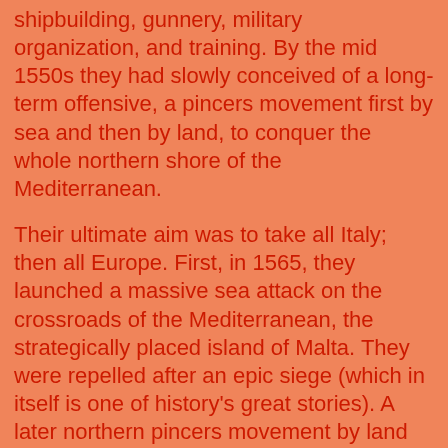shipbuilding, gunnery, military organization, and training. By the mid 1550s they had slowly conceived of a long-term offensive, a pincers movement first by sea and then by land, to conquer the whole northern shore of the Mediterranean.
Their ultimate aim was to take all Italy; then all Europe. First, in 1565, they launched a massive sea attack on the crossroads of the Mediterranean, the strategically placed island of Malta. They were repelled after an epic siege (which in itself is one of history's great stories). A later northern pincers movement by land was aimed at an attack up through the Balkans, for the conquest of Budapest, and then in a northeast arc into Slovakia and Poland. In this way, the Muslim forces would essentially encircle Italy from the north.
The capture of Vienna — and thus the cutting off of Italy, for easy conquest — was the prize most sought. Because by 1540 the Reformation had begun separating the Christian nations of the north from Rome, the sultans soon recognized that the Christian world would no longer fight as one. The next hundred years or so would be the most fruitful time since 632 to fulfill the destiny of Islam in Europe.
At last, Don Juan of Austria, the younger brother of the king of Spain, an illegitimate son, stood erect and summoned